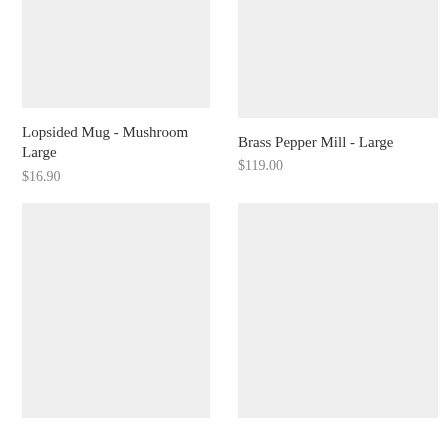[Figure (photo): Product image placeholder for Lopsided Mug - Mushroom Large, light gray rectangle]
[Figure (photo): Product image placeholder for Brass Pepper Mill - Large, light gray rectangle]
Lopsided Mug - Mushroom Large
$16.90
Brass Pepper Mill - Large
$119.00
[Figure (photo): Product image placeholder bottom left, large light gray rectangle]
[Figure (photo): Product image placeholder bottom right, large light gray rectangle]